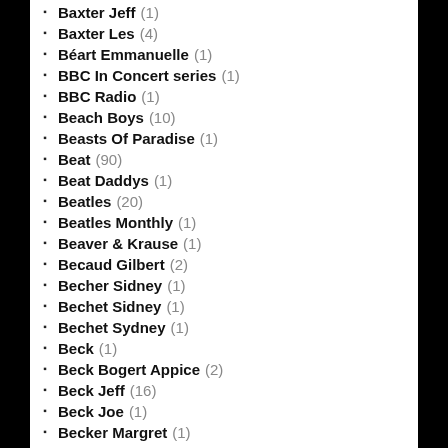Baxter Jeff (1)
Baxter Les (4)
Béart Emmanuelle (1)
BBC In Concert series (1)
BBC Radio (1)
Beach Boys (10)
Beasts Of Paradise (1)
Beat (90)
Beat Daddys (1)
Beatles (20)
Beatles Monthly (1)
Beaver & Krause (1)
Becaud Gilbert (2)
Becher Sidney (1)
Bechet Sidney (1)
Bechet Sydney (1)
Beck (1)
Beck Bogert Appice (2)
Beck Jeff (16)
Beck Joe (1)
Becker Margret (1)
Becoat Billie Joe (1)